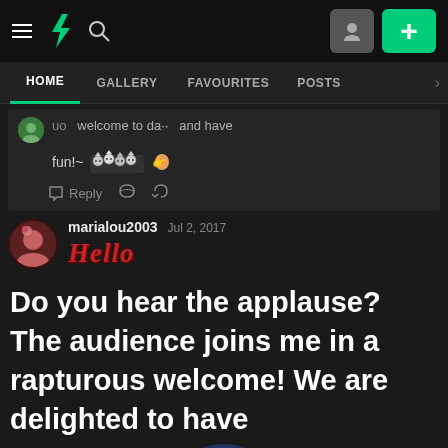DeviantArt navigation bar with hamburger menu, DA logo, search icon, user icon, plus button
HOME | GALLERY | FAVOURITES | POSTS
welcome to da... and have fun!~ [emoji cats] [emoji finger]
Reply [heart] [share]
marialou2003   Jul 2, 2017
Hello
Do you hear the applause? The audience joins me in a rapturous welcome! We are delighted to have